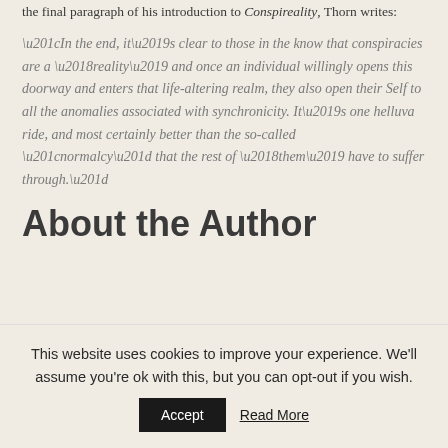the final paragraph of his introduction to Conspireality, Thorn writes:
“In the end, it’s clear to those in the know that conspiracies are a ‘reality’ and once an individual willingly opens this doorway and enters that life-altering realm, they also open their Self to all the anomalies associated with synchronicity. It’s one helluva ride, and most certainly better than the so-called “normalcy” that the rest of ‘them’ have to suffer through.”
About the Author
This website uses cookies to improve your experience. We’ll assume you’re ok with this, but you can opt-out if you wish.
Accept   Read More